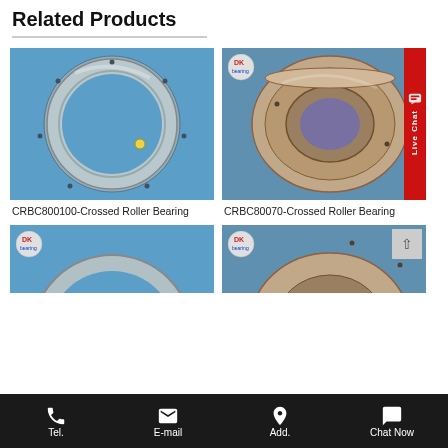Related Products
[Figure (photo): CRBC800100 Crossed Roller Bearing on blue background with DK bearing logo]
CRBC800100-Crossed Roller Bearing
[Figure (photo): CRBC80070 Crossed Roller Bearing on blue background with DK bearing logo and Live Chat badge]
CRBC80070-Crossed Roller Bearing
[Figure (photo): Partial view of another crossed roller bearing product with DK bearing logo]
[Figure (photo): Partial view of another crossed roller bearing product with DK bearing logo]
Tel.   E-mail   Add.   Chat Now